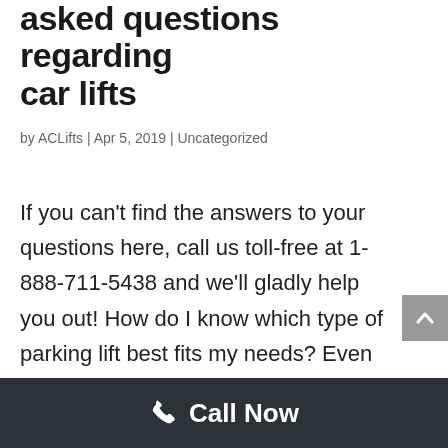asked questions regarding car lifts
by ACLifts | Apr 5, 2019 | Uncategorized
If you can't find the answers to your questions here, call us toll-free at 1-888-711-5438 and we'll gladly help you out! How do I know which type of parking lift best fits my needs? Even though most of us want to spend as little as possible, we also need...
Call Now